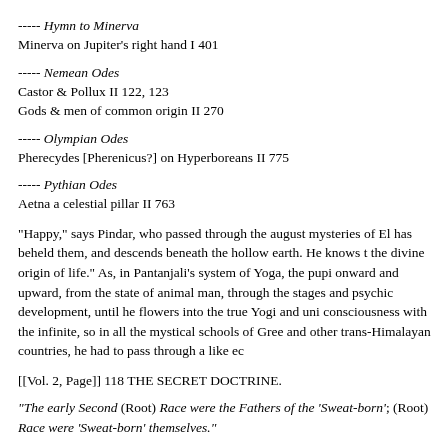----- Hymn to Minerva
Minerva on Jupiter's right hand I 401
----- Nemean Odes
Castor & Pollux II 122, 123
Gods & men of common origin II 270
----- Olympian Odes
Pherecydes [Pherenicus?] on Hyperboreans II 775
----- Pythian Odes
Aetna a celestial pillar II 763
"Happy," says Pindar, who passed through the august mysteries of El has beheld them, and descends beneath the hollow earth. He knows t the divine origin of life." As, in Pantanjali's system of Yoga, the pupi onward and upward, from the state of animal man, through the stages and psychic development, until he flowers into the true Yogi and uni consciousness with the infinite, so in all the mystical schools of Gree and other trans-Himalayan countries, he had to pass through a like ec
[[Vol. 2, Page]] 118 THE SECRET DOCTRINE.
"The early Second (Root) Race were the Fathers of the 'Sweat-born'; (Root) Race were 'Sweat-born' themselves."